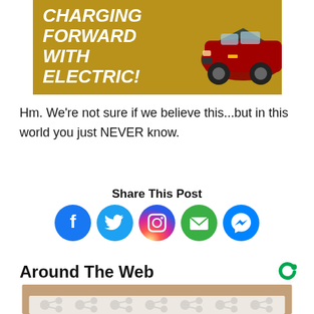[Figure (illustration): Advertisement banner with gold/yellow-brown background showing text 'CHARGING FORWARD WITH ELECTRIC!' in white bold italic font, with a red Chevrolet electric car on the right side.]
Hm. We're not sure if we believe this...but in this world you just NEVER know.
Share This Post
[Figure (infographic): Row of five social media share icons: Facebook (blue circle with f), Twitter (blue circle with bird), Instagram (gradient circle with camera), Email (green circle with envelope), Messenger (blue circle with lightning bolt)]
Around The Web
[Figure (photo): Partial image of a hand holding something, with a patterned overlay at the bottom showing a repeated molecule/connector pattern on a light background.]